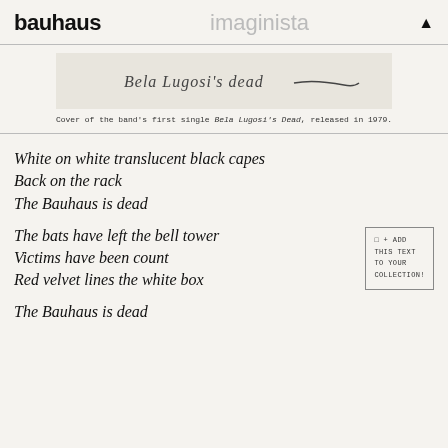bauhaus    imaginista    ▲
[Figure (photo): Handwritten text reading 'Bela Lugosi's dead' on a light background, shown as a single cover artwork image]
Cover of the band's first single Bela Lugosi's Dead, released in 1979.
White on white translucent black capes
Back on the rack
The Bauhaus is dead
The bats have left the bell tower
Victims have been count
Red velvet lines the white box
The Bauhaus is dead
+ ADD THIS TEXT TO YOUR COLLECTION!